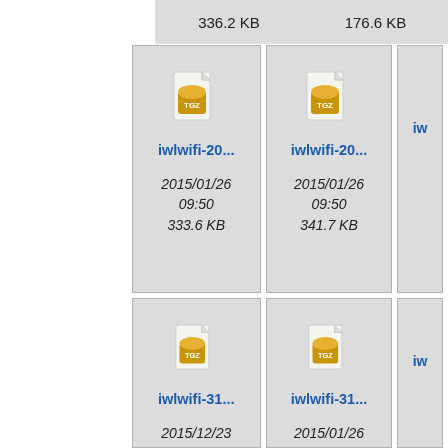336.2 KB
176.6 KB
[Figure (screenshot): TGZ file icon for iwlwifi-20... with date 2015/01/26 09:50, size 333.6 KB]
[Figure (screenshot): TGZ file icon for iwlwifi-20... with date 2015/01/26 09:50, size 341.7 KB]
[Figure (screenshot): TGZ file icon for iwlwifi-31... with date 2015/12/23 19:14, size 456.2 KB]
[Figure (screenshot): TGZ file icon for iwlwifi-31... with date 2015/01/26 09:50, size 322.9 KB]